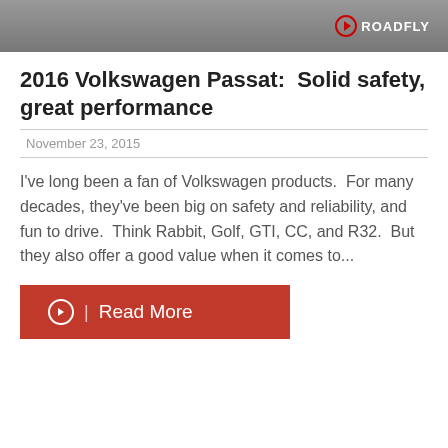[Figure (photo): Hero image of a car/road scene with ROADFLY logo in top right corner]
2016 Volkswagen Passat:  Solid safety, great performance
November 23, 2015
I've long been a fan of Volkswagen products.  For many decades, they've been big on safety and reliability, and fun to drive.  Think Rabbit, Golf, GTI, CC, and R32.  But they also offer a good value when it comes to...
Read More